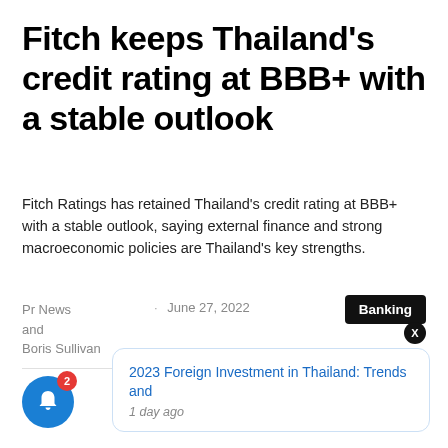Fitch keeps Thailand's credit rating at BBB+ with a stable outlook
Fitch Ratings has retained Thailand's credit rating at BBB+ with a stable outlook, saying external finance and strong macroeconomic policies are Thailand's key strengths.
Pr News
and
Boris Sullivan · June 27, 2022
Banking
2023 Foreign Investment in Thailand: Trends and
1 day ago